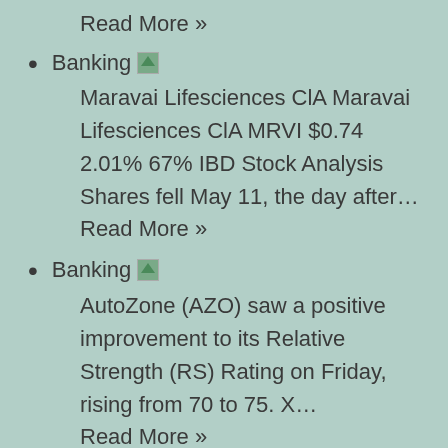Read More »
Banking [image] Maravai Lifesciences ClA Maravai Lifesciences ClA MRVI $0.74 2.01% 67% IBD Stock Analysis Shares fell May 11, the day after… Read More »
Banking [image] AutoZone (AZO) saw a positive improvement to its Relative Strength (RS) Rating on Friday, rising from 70 to 75. X… Read More »